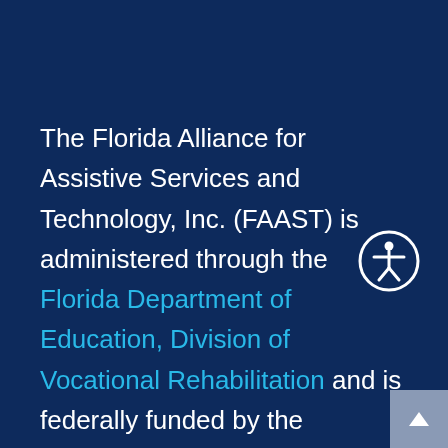The Florida Alliance for Assistive Services and Technology, Inc. (FAAST) is administered through the Florida Department of Education, Division of Vocational Rehabilitation and is federally funded by the Administration on Community Living under the Assistive Technology Act of 1998, as amended in 2004 (P.L. 108-364).